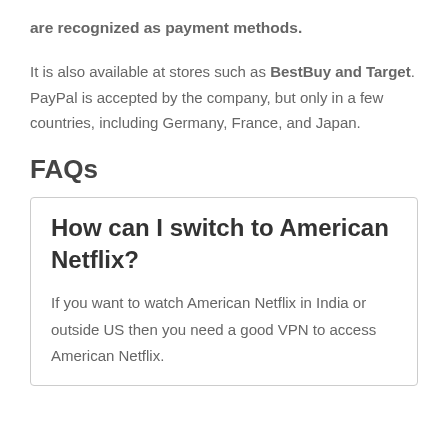are recognized as payment methods.
It is also available at stores such as BestBuy and Target. PayPal is accepted by the company, but only in a few countries, including Germany, France, and Japan.
FAQs
How can I switch to American Netflix?
If you want to watch American Netflix in India or outside US then you need a good VPN to access American Netflix.